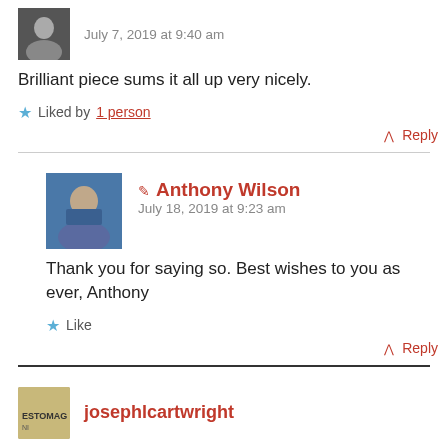July 7, 2019 at 9:40 am
Brilliant piece sums it all up very nicely.
★ Liked by 1 person
↑ Reply
✏ Anthony Wilson — July 18, 2019 at 9:23 am
Thank you for saying so. Best wishes to you as ever, Anthony
★ Like
↑ Reply
josephlcartwright